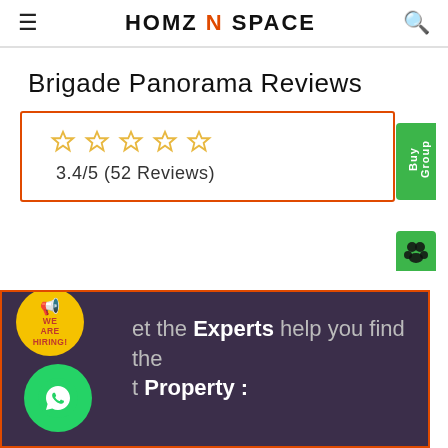HOMZ N SPACE
Brigade Panorama Reviews
[Figure (infographic): Rating box with 5 star icons (outline/empty stars in gold) and text '3.4/5 (52 Reviews)' inside an orange border box. A green 'Group Buy' vertical tab on the right side.]
[Figure (infographic): Dark purple banner with text 'Let the Experts help you find the right Property:'. Overlapping elements include a yellow circular 'WE ARE HIRING!' badge and a green WhatsApp button circle on the left.]